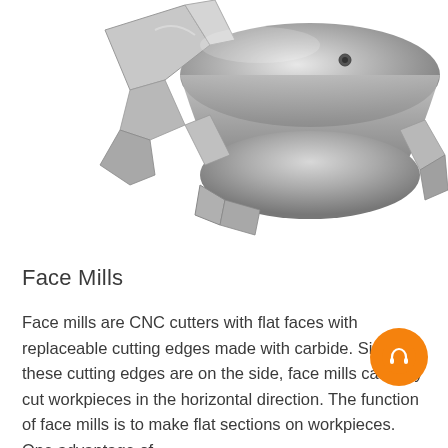[Figure (photo): Close-up photograph of a metallic face mill CNC cutting tool, showing replaceable carbide cutting inserts and the milling cutter body in silver/gray finish, viewed from an angle against a white background.]
Face Mills
Face mills are CNC cutters with flat faces with replaceable cutting edges made with carbide. Since these cutting edges are on the side, face mills can only cut workpieces in the horizontal direction. The function of face mills is to make flat sections on workpieces. One advantage of